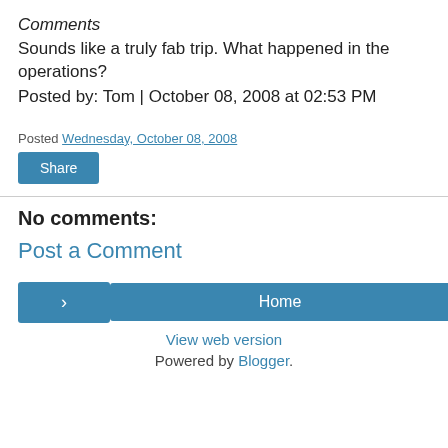Comments
Sounds like a truly fab trip. What happened in the operations?
Posted by: Tom | October 08, 2008 at 02:53 PM
Posted Wednesday, October 08, 2008
Share
No comments:
Post a Comment
Home
View web version
Powered by Blogger.